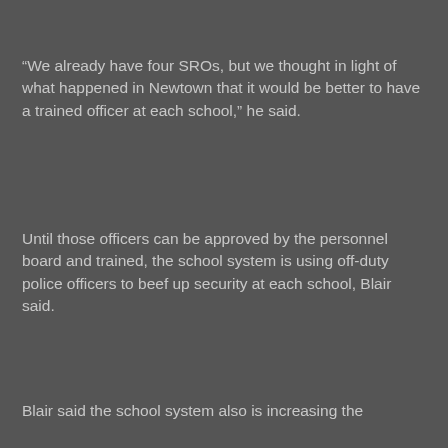“We already have four SROs, but we thought in light of what happened in Newtown that it would be better to have a trained officer at each school,” he said.
Until those officers can be approved by the personnel board and trained, the school system is using off-duty police officers to beef up security at each school, Blair said.
Blair said the school system also is increasing the